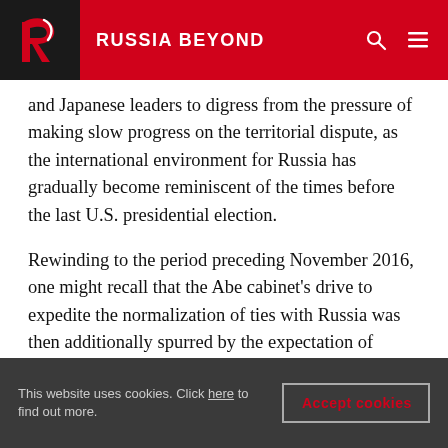RUSSIA BEYOND
and Japanese leaders to digress from the pressure of making slow progress on the territorial dispute, as the international environment for Russia has gradually become reminiscent of the times before the last U.S. presidential election.
Rewinding to the period preceding November 2016, one might recall that the Abe cabinet's drive to expedite the normalization of ties with Russia was then additionally spurred by the expectation of continued isolation of Russia by the United States in the event of Hillary Clinton's victory and
This website uses cookies. Click here to find out more.